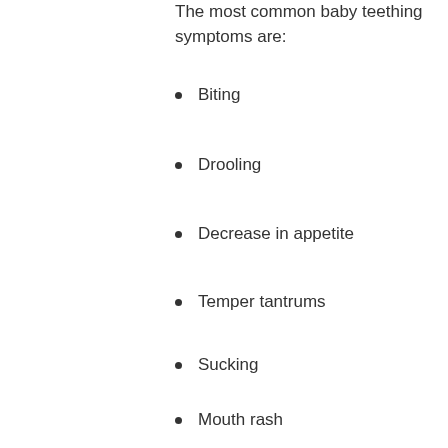The most common baby teething symptoms are:
Biting
Drooling
Decrease in appetite
Temper tantrums
Sucking
Mouth rash
See more in our blog - Baby Teething Tips
Baby Teething Toys Cleaning Instructions & Product S...